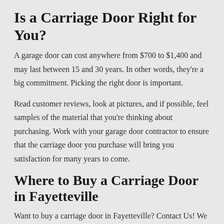Is a Carriage Door Right for You?
A garage door can cost anywhere from $700 to $1,400 and may last between 15 and 30 years. In other words, they're a big commitment. Picking the right door is important.
Read customer reviews, look at pictures, and if possible, feel samples of the material that you're thinking about purchasing. Work with your garage door contractor to ensure that the carriage door you purchase will bring you satisfaction for many years to come.
Where to Buy a Carriage Door in Fayetteville
Want to buy a carriage door in Fayetteville? Contact Us! We sell a variety of garage door types including many models of carriage